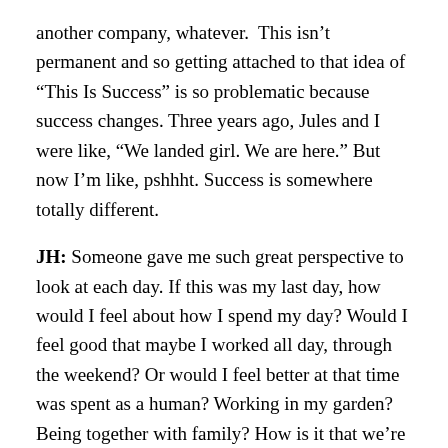another company, whatever.  This isn't permanent and so getting attached to that idea of “This Is Success” is so problematic because success changes. Three years ago, Jules and I were like, “We landed girl. We are here.” But now I’m like, pshhht. Success is somewhere totally different.
JH: Someone gave me such great perspective to look at each day. If this was my last day, how would I feel about how I spend my day? Would I feel good that maybe I worked all day, through the weekend? Or would I feel better at that time was spent as a human? Working in my garden?  Being together with family? How is it that we’re spending our time and how should we be defining ourselves? And that just changes perspective, a bit.
AF: So true. I think a lot like who I am, as a human. I think about where I come from. I had a career mom – that was her